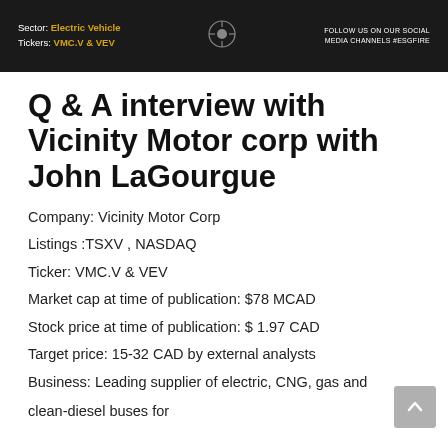Sector: Electric Vehicle Tickers: VMC.V & VEV FOLLOW US ON OUR SOCIAL MEDIA CHANNELS #ESGFIRE
Q & A interview with Vicinity Motor corp with John LaGourgue
Company: Vicinity Motor Corp
Listings :TSXV , NASDAQ
Ticker: VMC.V & VEV
Market cap at time of publication: $78 MCAD
Stock price at time of publication: $ 1.97 CAD
Target price: 15-32 CAD by external analysts
Business: Leading supplier of electric, CNG, gas and clean-diesel buses for